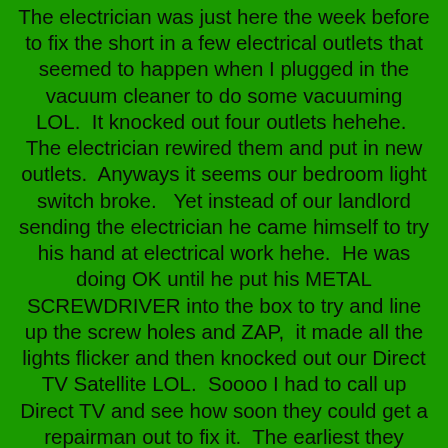The electrician was just here the week before to fix the short in a few electrical outlets that seemed to happen when I plugged in the vacuum cleaner to do some vacuuming LOL.  It knocked out four outlets hehehe.  The electrician rewired them and put in new outlets.  Anyways it seems our bedroom light switch broke.   Yet instead of our landlord sending the electrician he came himself to try his hand at electrical work hehe.  He was doing OK until he put his METAL SCREWDRIVER into the box to try and line up the screw holes and ZAP,  it made all the lights flicker and then knocked out our Direct TV Satellite LOL.  Soooo I had to call up Direct TV and see how soon they could get a repairman out to fix it.  The earliest they could, was Thursday morning,  so me with my new glasses still could not watch TV  for a few days hehehehe.  Judy and I popped in a couple of movies and made the best of it LOL.  The repairman came earlier than expected Thursday morning and got us fixed up.  Before he left,  he noticed my conga drums in the living room and asked me that profound question